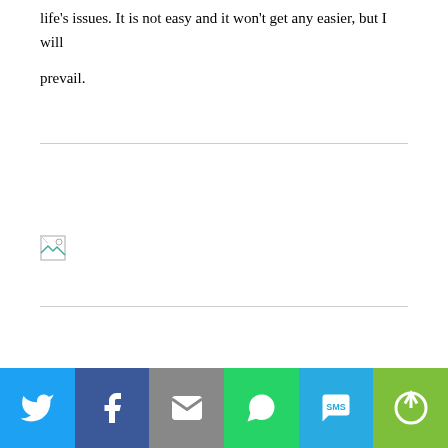life's issues.  It is not easy and it won't get any easier, but I will prevail.
[Figure (other): Broken/missing image placeholder icon]
Social sharing bar with Twitter, Facebook, Email, WhatsApp, SMS, More buttons